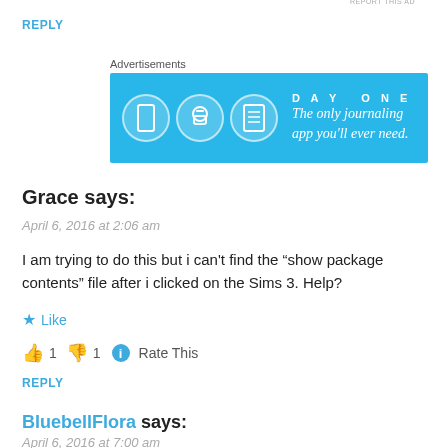REPLY
[Figure (other): Day One journaling app advertisement banner with blue background, showing app icons and tagline 'The only journaling app you'll ever need.']
Grace says:
April 6, 2016 at 2:06 am
I am trying to do this but i can't find the “show package contents” file after i clicked on the Sims 3. Help?
★ Like
👍 1 👎 1 ℹ Rate This
REPLY
BluebellFlora says:
April 6, 2016 at 7:00 am